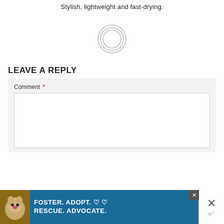Stylish, lightweight and fast-drying.
[Figure (other): Loading spinner / circular progress indicator graphic — three concentric rings in light gray]
LEAVE A REPLY
Comment *
[Figure (screenshot): Advertisement banner: dog image on left, text 'FOSTER. ADOPT. RESCUE. ADVOCATE.' with heart icons, close button with X on right]